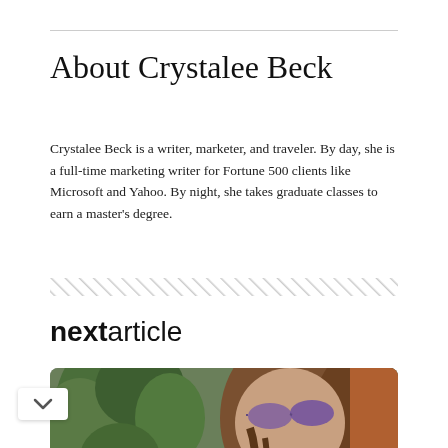About Crystalee Beck
Crystalee Beck is a writer, marketer, and traveler. By day, she is a full-time marketing writer for Fortune 500 clients like Microsoft and Yahoo. By night, she takes graduate classes to earn a master's degree.
nextarticle
[Figure (photo): A photo showing a person with long brown hair wearing purple sunglasses, surrounded by green tropical plants, partially obscured. Text 'deeds' appears at bottom left.]